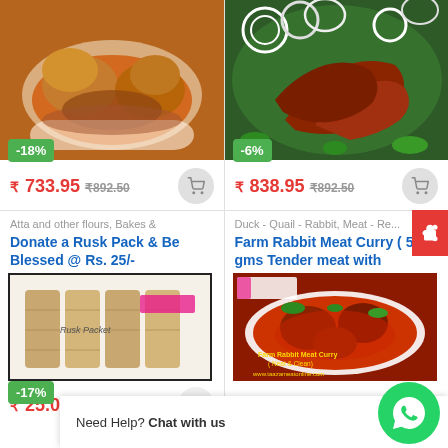[Figure (photo): Chicken curry in a white bowl with gravy]
-18%
₹ 733.95 ₹892.50
[Figure (photo): Fried prawns/shrimp with onion rings and herbs on green leaf]
-6%
₹ 838.95 ₹892.50
Atta and other flours, Bakes &
Donate a Rusk Pack & Be Blessed @ Rs. 25/-
[Figure (photo): Rusk Packet - packaged biscuit rusks]
-17%
₹ 25.00 ₹30.00
Duck - Quail - Rabbit, Meat - Re...
Farm Rabbit Meat Curry ( 500 gms Tender meat with
[Figure (photo): Farm Rabbit Meat Curry in red gravy with herbs - www.taazameatonline.com]
₹ 834.75 ₹1,250.00
Need Help? Chat with us